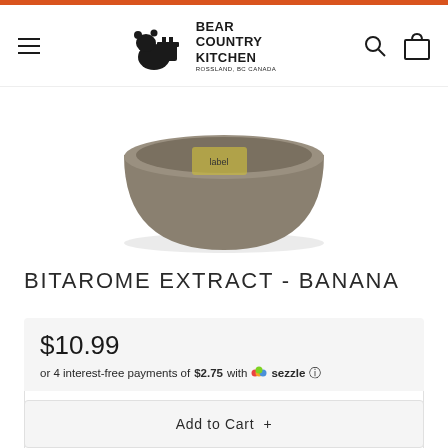BEAR COUNTRY KITCHEN - ROSSLAND, BC CANADA
[Figure (photo): Product photo showing a dark brown bowl/container viewed from above, partially cropped at the top of the product section]
BITAROME EXTRACT - BANANA
$10.99
or 4 interest-free payments of $2.75 with Sezzle
Quantity  −  1  +
Add to Cart +